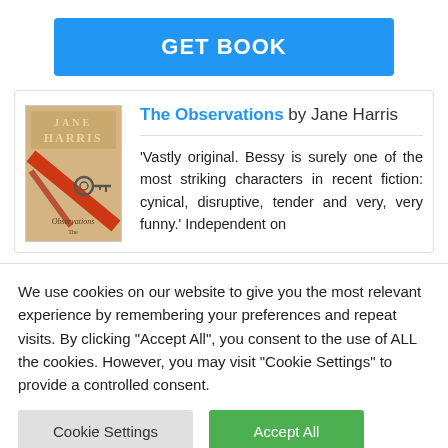[Figure (other): GET BOOK button — blue rounded rectangle with white text]
[Figure (other): Book cover thumbnail for 'The Observations' by Jane Harris — decorative cover with red ribbon and key]
The Observations by Jane Harris
'Vastly original. Bessy is surely one of the most striking characters in recent fiction: cynical, disruptive, tender and very, very funny.' Independent on
We use cookies on our website to give you the most relevant experience by remembering your preferences and repeat visits. By clicking "Accept All", you consent to the use of ALL the cookies. However, you may visit "Cookie Settings" to provide a controlled consent.
Cookie Settings
Accept All